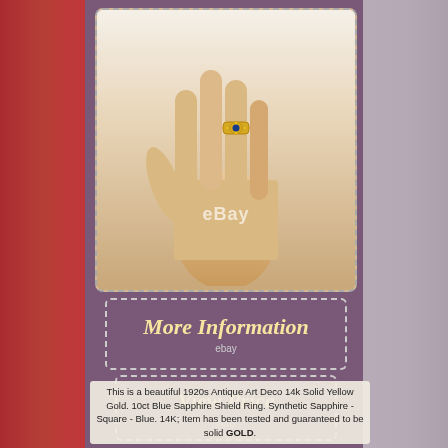[Figure (photo): Mannequin hand wearing a 14k gold ring with blue sapphire stone, against a light background. eBay watermark visible on the image.]
More Information
ebay
View Price
ebay
This is a beautiful 1920s Antique Art Deco 14k Solid Yellow Gold. 10ct Blue Sapphire Shield Ring. Synthetic Sapphire - Square - Blue. 14K; Item has been tested and guaranteed to be solid GOLD.